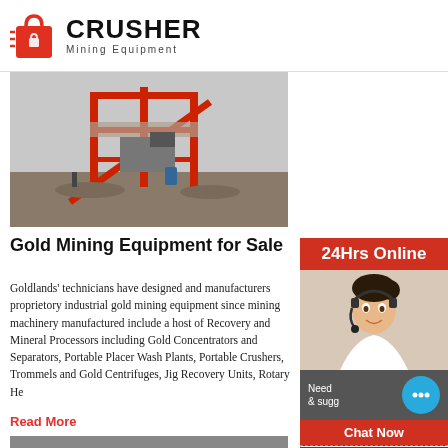[Figure (logo): Crusher Mining Equipment logo with red shopping bag icon and bold CRUSHER text]
[Figure (photo): Gold mining equipment site with red metal structure and industrial machinery]
Gold Mining Equipment for Sale
Goldlands' technicians have designed and manufactured proprietory industrial gold mining equipment since mining machinery manufactured include a host of Recovery and Mineral Processors including Gold Concentrators and Separators, Portable Placer Wash Plants, Portable Crushers, Trommels and Gold Centrifuges, Jig Recovery Units, Rotary He
Read More
[Figure (photo): Large industrial mining/crushing equipment outdoors]
[Figure (photo): 24Hrs Online sidebar with customer service representative wearing headset]
24Hrs Online
Need & suggestions Chat Now
Enquiry
limingjlmofen@sina.com